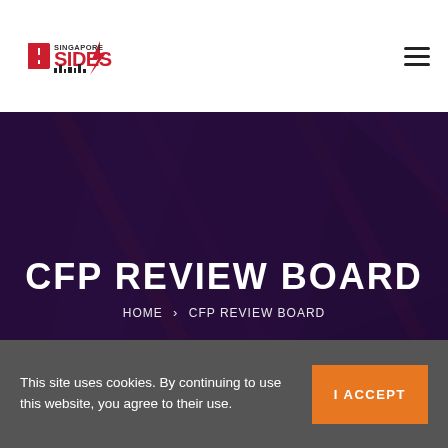BSides Singapore logo | hamburger menu
CFP REVIEW BOARD
HOME > CFP REVIEW BOARD
This site uses cookies. By continuing to use this website, you agree to their use. I ACCEPT